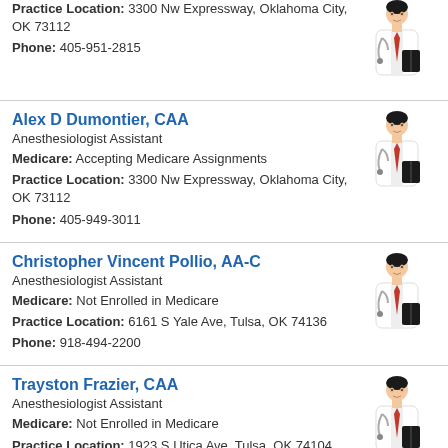Practice Location: 3300 Nw Expressway, Oklahoma City, OK 73112
Phone: 405-951-2815
Alex D Dumontier, CAA
Anesthesiologist Assistant
Medicare: Accepting Medicare Assignments
Practice Location: 3300 Nw Expressway, Oklahoma City, OK 73112
Phone: 405-949-3011
Christopher Vincent Pollio, AA-C
Anesthesiologist Assistant
Medicare: Not Enrolled in Medicare
Practice Location: 6161 S Yale Ave, Tulsa, OK 74136
Phone: 918-494-2200
Trayston Frazier, CAA
Anesthesiologist Assistant
Medicare: Not Enrolled in Medicare
Practice Location: 1923 S Utica Ave, Tulsa, OK 74104